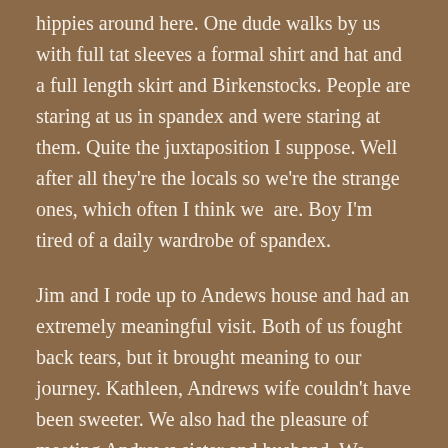hippies around here. One dude walks by us with full tat sleeves a formal shirt and hat and a full length skirt and Birkenstocks. People are staring at us in spandex and were staring at them. Quite the juxtaposition I suppose. Well after all they're the locals so we're the strange ones, which often I think we  are. Boy I'm tired of a daily wardrobe of spandex.
Jim and I rode up to Andews house and had an extremely meaningful visit. Both of us fought back tears, but it brought meaning to our journey. Kathleen, Andrews wife couldn't have been sweeter. We also had the pleasure of meeting Andrews sister and husband. We shared stories about the ride as well as about ALS. Andrew has lost many family members as well to ALS.  It was a solemn and humbling visit. Our message was to let